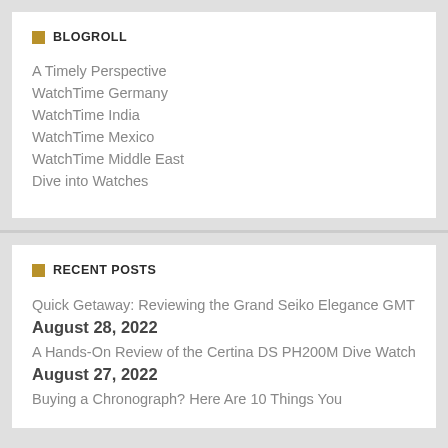BLOGROLL
A Timely Perspective
WatchTime Germany
WatchTime India
WatchTime Mexico
WatchTime Middle East
Dive into Watches
RECENT POSTS
Quick Getaway: Reviewing the Grand Seiko Elegance GMT August 28, 2022
A Hands-On Review of the Certina DS PH200M Dive Watch August 27, 2022
Buying a Chronograph? Here Are 10 Things You